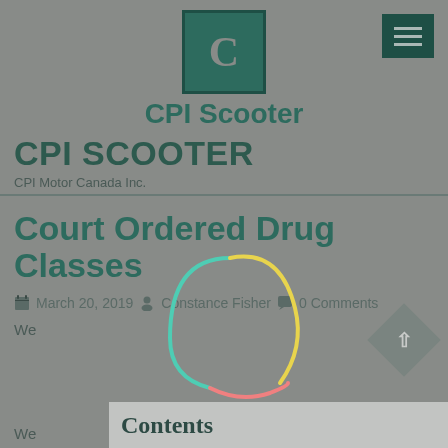[Figure (logo): CPI Scooter logo: dark teal square with letter C in gray]
CPI Scooter
CPI SCOOTER
CPI Motor Canada Inc.
Court Ordered Drug Classes
March 20, 2019  Constance Fisher  0 Comments
We
Contents